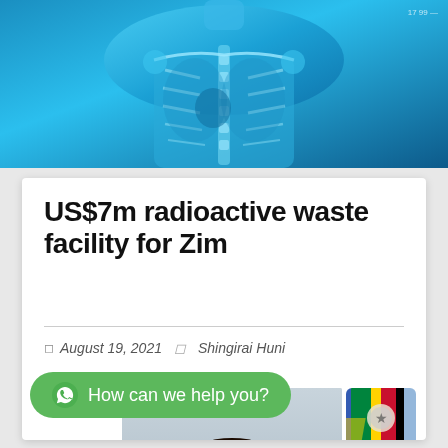[Figure (photo): Blue X-ray image of human torso/chest used as website header banner]
US$7m radioactive waste facility for Zim
August 19, 2021  Shingirai Huni
[Figure (photo): Portrait photo of a man in a dark suit with a tie, smiling, seated. Zimbabwe flag ribbon visible to the right.]
How can we help you?